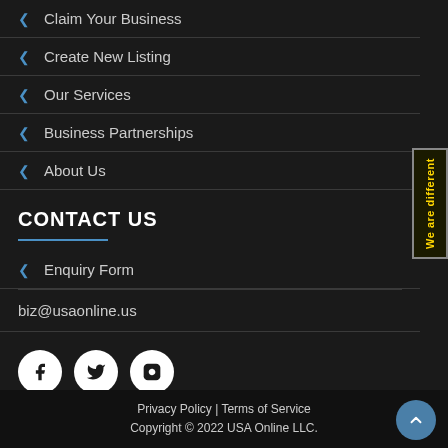< Claim Your Business
< Create New Listing
< Our Services
< Business Partnerships
< About Us
CONTACT US
< Enquiry Form
biz@usaonline.us
[Figure (illustration): Social media icons: Facebook, Twitter, Instagram in white circles]
[Figure (infographic): Vertical side badge reading 'We are different' in yellow text on dark background]
Privacy Policy | Terms of Service
Copyright © 2022 USA Online LLC.